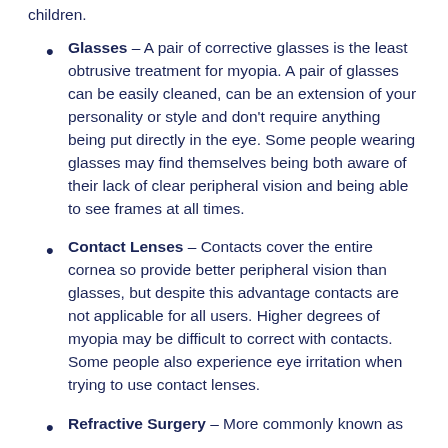children.
Glasses – A pair of corrective glasses is the least obtrusive treatment for myopia. A pair of glasses can be easily cleaned, can be an extension of your personality or style and don't require anything being put directly in the eye. Some people wearing glasses may find themselves being both aware of their lack of clear peripheral vision and being able to see frames at all times.
Contact Lenses – Contacts cover the entire cornea so provide better peripheral vision than glasses, but despite this advantage contacts are not applicable for all users. Higher degrees of myopia may be difficult to correct with contacts. Some people also experience eye irritation when trying to use contact lenses.
Refractive Surgery – More commonly known as